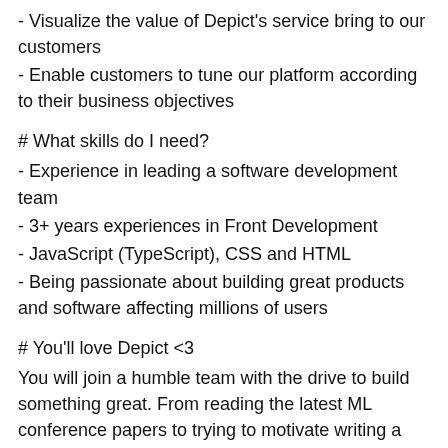- Visualize the value of Depict's service bring to our customers
- Enable customers to tune our platform according to their business objectives
# What skills do I need?
- Experience in leading a software development team
- 3+ years experiences in Front Development
- JavaScript (TypeScript), CSS and HTML
- Being passionate about building great products and software affecting millions of users
# You'll love Depict <3
You will join a humble team with the drive to build something great. From reading the latest ML conference papers to trying to motivate writing a service in Rust, we are laser-focused on doing everything we can to move Depict forward. With backgrounds ranging from Google, Uber and CERN to self-taught programmers, we are united by our passion for building a great product.